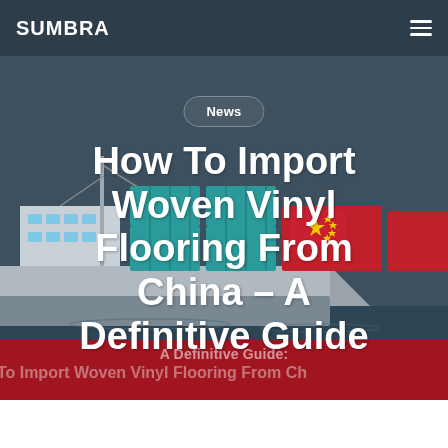SUMBRA
[Figure (illustration): Illustrated cargo ship with shipping containers (teal and red) and Chinese flag, set against a grey-blue background. Serves as hero image for article about importing from China.]
News
How To Import Woven Vinyl Flooring From China – A Definitive Guide
A Definitive Guide:
w To Import Woven Vinyl Flooring From Ch